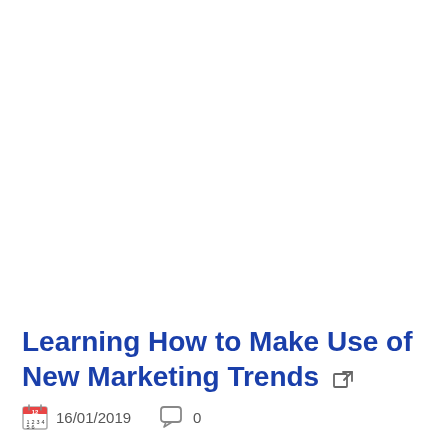Learning How to Make Use of New Marketing Trends ↗
16/01/2019   0